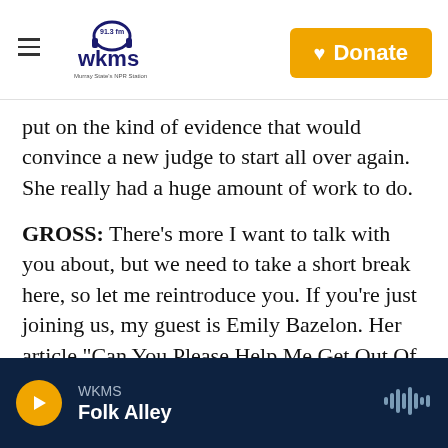WKMS 91.3 fm — Murray State's NPR Station | Donate
put on the kind of evidence that would convince a new judge to start all over again. She really had a huge amount of work to do.
GROSS: There's more I want to talk with you about, but we need to take a short break here, so let me reintroduce you. If you're just joining us, my guest is Emily Bazelon. Her article "Can You Please Help Me Get Out Of Prison?" is the cover story of this week's New York Times magazine. We'll talk more after a break. I'm Terry Gross, and this is FRESH AIR.
WKMS — Folk Alley